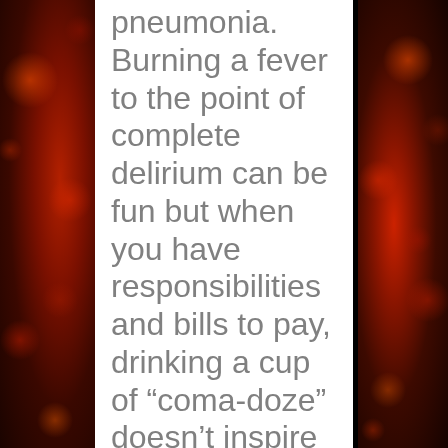pneumonia. Burning a fever to the point of complete delirium can be fun but when you have responsibilities and bills to pay, drinking a cup of “coma-doze” doesn’t inspire me to pick up my socks, go grocery shopping, pop in the office or any of the one million things I